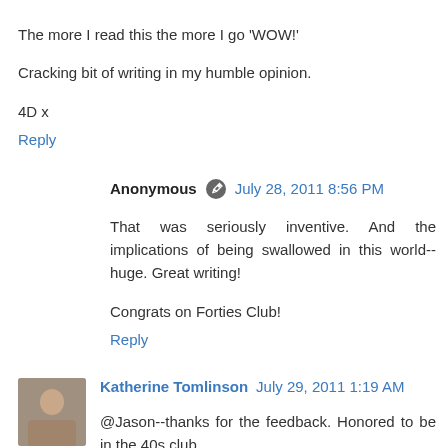The more I read this the more I go 'WOW!'
Cracking bit of writing in my humble opinion.
4D x
Reply
Anonymous  July 28, 2011 8:56 PM
That was seriously inventive. And the implications of being swallowed in this world--huge. Great writing!
Congrats on Forties Club!
Reply
Katherine Tomlinson  July 29, 2011 1:19 AM
@Jason--thanks for the feedback. Honored to be in the 40s club.
Best...
Reply